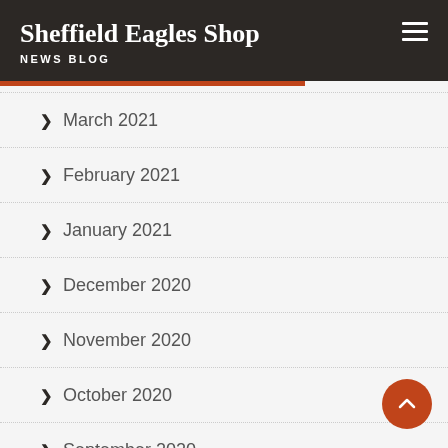Sheffield Eagles Shop
NEWS BLOG
March 2021
February 2021
January 2021
December 2020
November 2020
October 2020
September 2020
August 2020